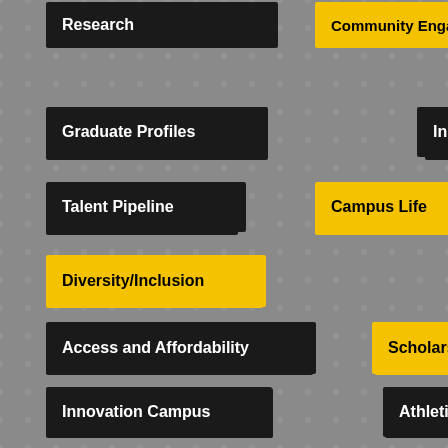Research
Community Engagement
Graduate Profiles
Innovation
Talent Pipeline
Campus Life
Diversity/Inclusion
Access and Affordability
Scholarships
Innovation Campus
Athletics
College of Health Professions
College of Applied Studies